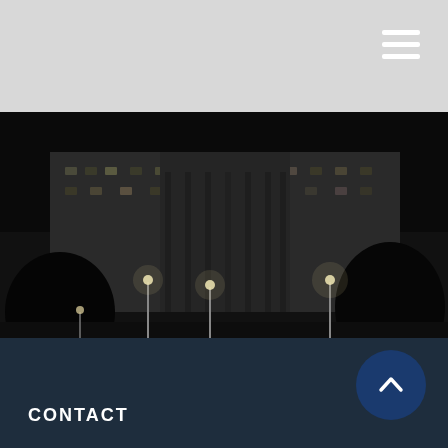Navigation bar with hamburger menu
[Figure (photo): Black and white nighttime photo of a large government building (appears to be a capitol or courthouse) illuminated by streetlights, with trees in the foreground]
Federal Income Tax
Use this calculator to estimate your income tax liability along with average and marginal tax rates.
CONTACT